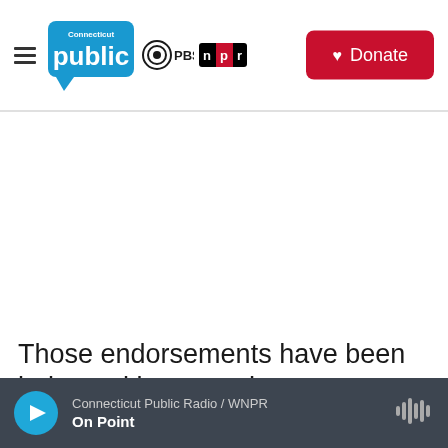Connecticut Public | PBS | NPR | Donate
[Figure (other): White advertisement/blank space area]
Those endorsements have been bolstered by more than a quarter of a million fan
Connecticut Public Radio / WNPR | On Point